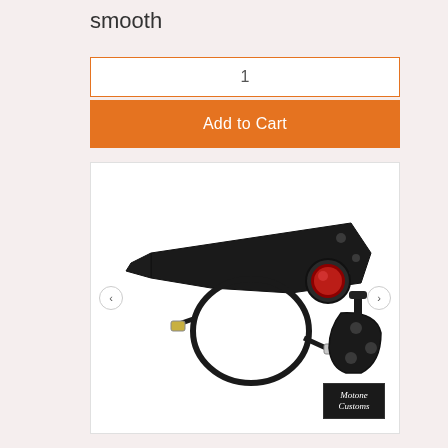smooth
1
Add to Cart
[Figure (photo): Motorcycle tail kit product photo showing a flat black metal fender/mudguard bracket, a circular red tail light with wiring harness, and a license plate bracket assembly on white background. A brand logo reading 'Motone' appears in the bottom right corner.]